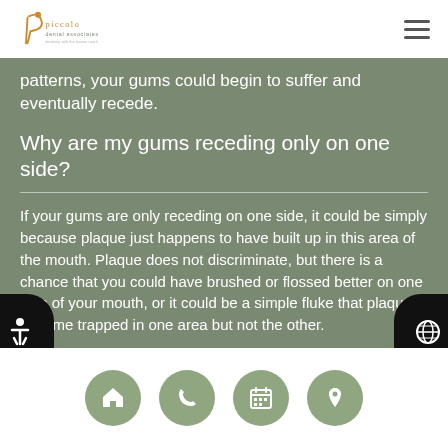Piccolo Dental Associates
patterns, your gums could begin to suffer and eventually recede.
Why are my gums receding only on one side?
If your gums are only receding on one side, it could be simply because plaque just happens to have built up in this area of the mouth. Plaque does not discriminate, but there is a chance that you could have brushed or flossed better on one side of your mouth, or it could be a simple fluke that plaque became trapped in one area but not the other.
Home | Phone | Calendar | Location icons